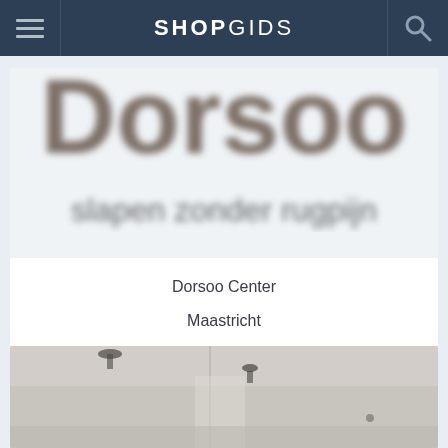SHOPGIDS
[Figure (logo): Dorsoo logo with large blurred text 'Dorsoo' and tagline 'slapen zonder rugpijn']
Dorsoo Center
Maastricht
[Figure (photo): Interior photo of a store or showroom, black and white/desaturated, showing ceiling, walls and interior fixtures]